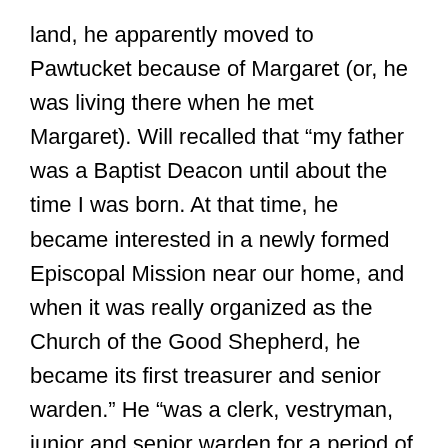land, he apparently moved to Pawtucket because of Margaret (or, he was living there when he met Margaret). Will recalled that “my father was a Baptist Deacon until about the time I was born. At that time, he became interested in a newly formed Episcopal Mission near our home, and when it was really organized as the Church of the Good Shepherd, he became its first treasurer and senior warden.” He “was a clerk, vestryman, junior and senior warden for a period of more than fifty-seven years.”
Will graduated from Pawtucket High School in 1886 with a focus on English studies. He wrote that when he “was a young man I used to spend a vacation every summer in Exeter, Rhode Island, on the farms of my aunt, Mahala Perkins Reynolds; my grandfather, John Prosser Perkins; and my uncle John Riley Perkins. I used to sit